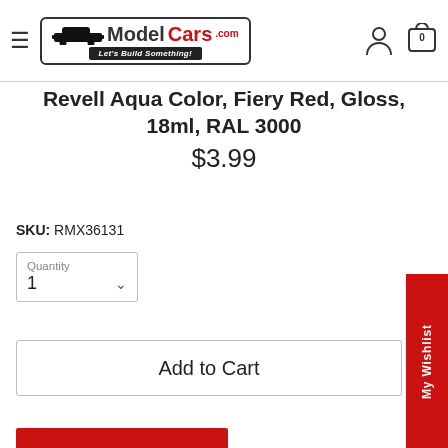ModelCars.com — Let's Build Something!
Revell Aqua Color, Fiery Red, Gloss, 18ml, RAL 3000
$3.99
SKU: RMX36131
Quantity
1
Add to Cart
My Wishlist